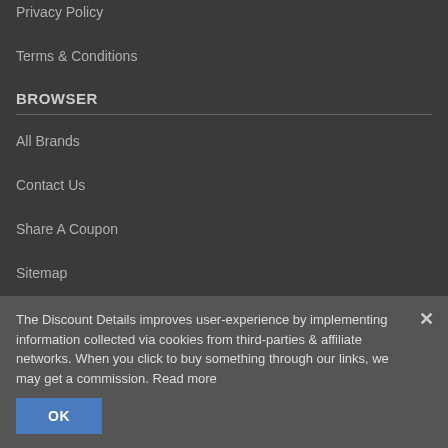Privacy Policy
Terms & Conditions
BROWSER
All Brands
Contact Us
Share A Coupon
Sitemap
SPECIAL EVENT
The Discount Details improves user-experience by implementing information collected via cookies from third-parties & affiliate networks. When you click to buy something through our links, we may get a commission. Read more
Saturday Deals
Black Friday Deals